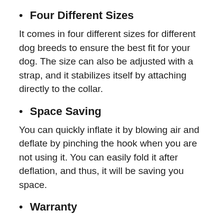Four Different Sizes
It comes in four different sizes for different dog breeds to ensure the best fit for your dog. The size can also be adjusted with a strap, and it stabilizes itself by attaching directly to the collar.
Space Saving
You can quickly inflate it by blowing air and deflate by pinching the hook when you are not using it. You can easily fold it after deflation, and thus, it will be saving you space.
Warranty